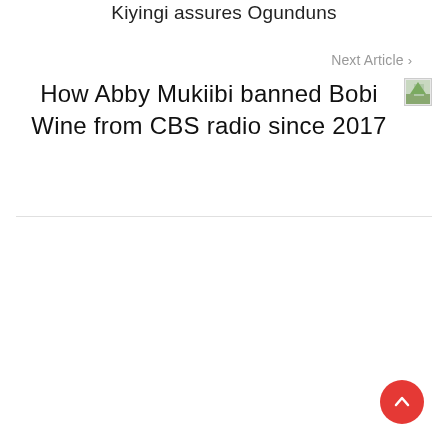Kiyingi assures Ogunduns
Next Article ›
How Abby Mukiibi banned Bobi Wine from CBS radio since 2017
[Figure (photo): Small thumbnail image of article]
[Figure (other): Red circular back-to-top button with upward chevron arrow]